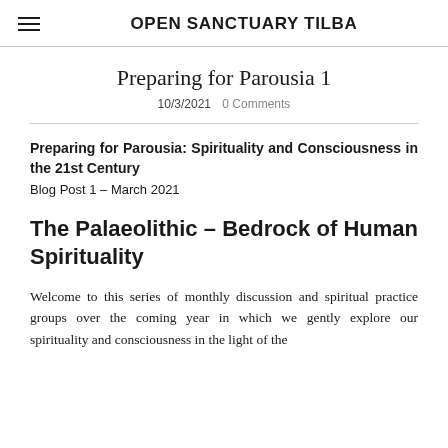OPEN SANCTUARY TILBA
Preparing for Parousia 1
10/3/2021   0 Comments
Preparing for Parousia: Spirituality and Consciousness in the 21st Century
Blog Post 1 – March 2021
The Palaeolithic – Bedrock of Human Spirituality
Welcome to this series of monthly discussion and spiritual practice groups over the coming year in which we gently explore our spirituality and consciousness in the light of the